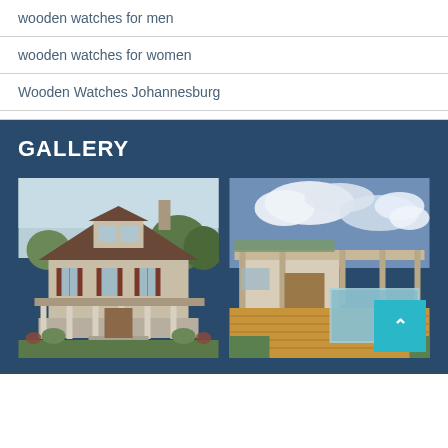wooden watches for men
wooden watches for women
Wooden Watches Johannesburg
GALLERY
[Figure (photo): Photo of a two-story craftsman-style house with front porch, columns, dormer windows, and chimney surrounded by trees and landscaping]
[Figure (photo): Photo of a modern flat-roofed house with pergola, wooden deck, outdoor jacuzzi, and dramatic cloudy sky]